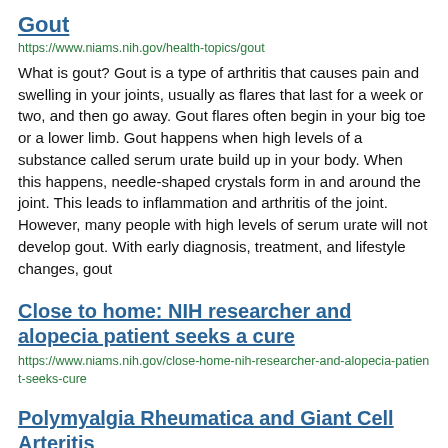Gout
https://www.niams.nih.gov/health-topics/gout
What is gout? Gout is a type of arthritis that causes pain and swelling in your joints, usually as flares that last for a week or two, and then go away. Gout flares often begin in your big toe or a lower limb. Gout happens when high levels of a substance called serum urate build up in your body. When this happens, needle-shaped crystals form in and around the joint. This leads to inflammation and arthritis of the joint. However, many people with high levels of serum urate will not develop gout. With early diagnosis, treatment, and lifestyle changes, gout
Close to home: NIH researcher and alopecia patient seeks a cure
https://www.niams.nih.gov/close-home-nih-researcher-and-alopecia-patient-seeks-cure
Polymyalgia Rheumatica and Giant Cell Arteritis
https://www.niams.nih.gov/health-topics/polymyalgia-rheumatica-giant-cell-arteritis
What are polymyalgia rheumatica and giant cell arteritis? Polymyalgia rheumatica and giant cell arteritis are closely linked inflammatory diseases. Some experts believe they are part of the same...